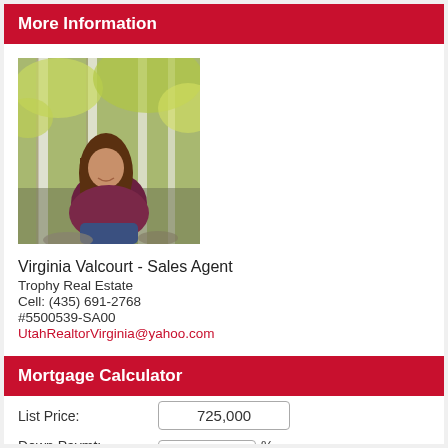More Information
[Figure (photo): Photo of Virginia Valcourt, a woman with long brown hair sitting outdoors among birch/aspen trees with green and yellow foliage.]
Virginia Valcourt - Sales Agent
Trophy Real Estate
Cell: (435) 691-2768
#5500539-SA00
UtahRealtorVirginia@yahoo.com
Mortgage Calculator
List Price:	725,000
Down Paymt:	%